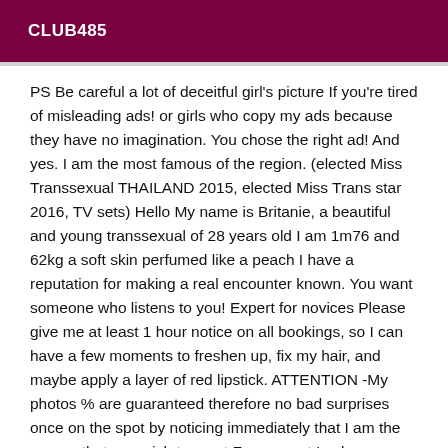CLUB485
PS Be careful a lot of deceitful girl's picture If you're tired of misleading ads! or girls who copy my ads because they have no imagination. You chose the right ad! And yes. I am the most famous of the region. (elected Miss Transsexual THAILAND 2015, elected Miss Trans star 2016, TV sets) Hello My name is Britanie, a beautiful and young transsexual of 28 years old I am 1m76 and 62kg a soft skin perfumed like a peach I have a reputation for making a real encounter known. You want someone who listens to you! Expert for novices Please give me at least 1 hour notice on all bookings, so I can have a few moments to freshen up, fix my hair, and maybe apply a layer of red lipstick. ATTENTION -My photos % are guaranteed therefore no bad surprises once on the spot by noticing immediately that I am the person that you wish to meet For my part I ask you a good hygiene and to be punctual and especially discrete